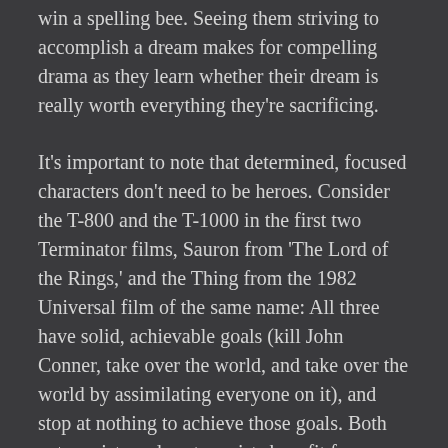win a spelling bee. Seeing them striving to accomplish a dream makes for compelling drama as they learn whether their dream is really worth everything they're sacrificing.
It's important to note that determined, focused characters don't need to be heroes. Consider the T-800 and the T-1000 in the first two Terminator films, Sauron from 'The Lord of the Rings,' and the Thing from the 1982 Universal film of the same name: All three have solid, achievable goals (kill John Conner, take over the world, and take over the world by assimilating everyone on it), and stop at nothing to achieve those goals. Both antagonists and protagonists benefit from laser-like focus, and when their strength of wills clash, it